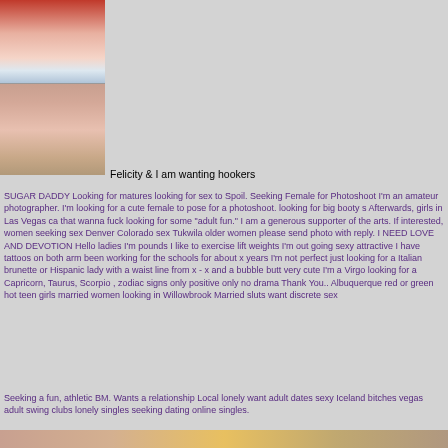[Figure (photo): Two stacked photos on the left side: top photo shows a person in a red top with white stockings, bottom photo shows a person in a pink dress]
Felicity & I am wanting hookers
SUGAR DADDY Looking for matures looking for sex to Spoil. Seeking Female for Photoshoot I'm an amateur photographer. I'm looking for a cute female to pose for a photoshoot. looking for big booty s Afterwards, girls in Las Vegas ca that wanna fuck looking for some "adult fun." I am a generous supporter of the arts. If interested, women seeking sex Denver Colorado sex Tukwila older women please send photo with reply. I NEED LOVE AND DEVOTION Hello ladies I'm pounds I like to exercise lift weights I'm out going sexy attractive I have tattoos on both arm been working for the schools for about x years I'm not perfect just looking for a Italian brunette or Hispanic lady with a waist line from x - x and a bubble butt very cute I'm a Virgo looking for a Capricorn, Taurus, Scorpio , zodiac signs only positive only no drama Thank You.. Albuquerque red or green hot teen girls married women looking in Willowbrook Married sluts want discrete sex
Seeking a fun, athletic BM. Wants a relationship Local lonely want adult dates sexy Iceland bitches vegas adult swing clubs lonely singles seeking dating online singles.
[Figure (photo): Bottom strip showing partial photos]